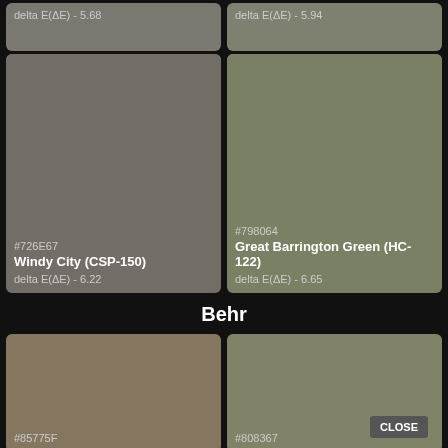[Figure (infographic): Two paint color swatches at top: left is #726E67 Windy City CSP-150 delta E 6.22, right is #798064 Great Barrington Green HC-122 delta E 6.65. Previously cut off swatches above with delta E 5.68 and 5.94.]
Behr
[Figure (infographic): Two Behr paint color swatches: left is #85775F (brownish tan), right is #808367 (muted olive green) with a CLOSE button overlay. Swatches partially cut off at bottom.]